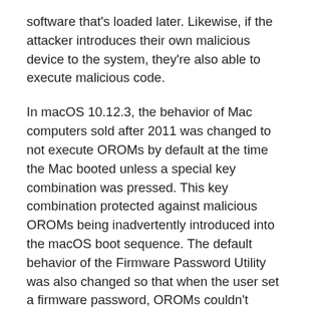software that's loaded later. Likewise, if the attacker introduces their own malicious device to the system, they're also able to execute malicious code.
In macOS 10.12.3, the behavior of Mac computers sold after 2011 was changed to not execute OROMs by default at the time the Mac booted unless a special key combination was pressed. This key combination protected against malicious OROMs being inadvertently introduced into the macOS boot sequence. The default behavior of the Firmware Password Utility was also changed so that when the user set a firmware password, OROMs couldn't execute even if the key combination was pressed. This protected against a physically present attacker intentionally introducing a malicious OROM. For users who still need to run